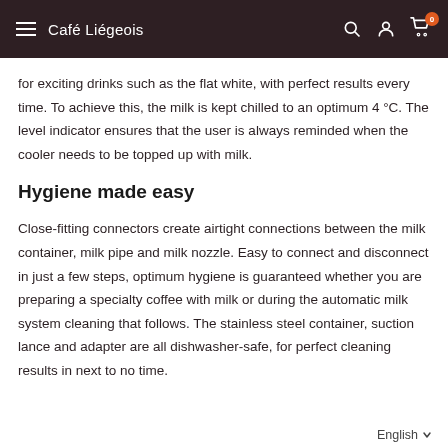Café Liégeois
for exciting drinks such as the flat white, with perfect results every time. To achieve this, the milk is kept chilled to an optimum 4 °C. The level indicator ensures that the user is always reminded when the cooler needs to be topped up with milk.
Hygiene made easy
Close-fitting connectors create airtight connections between the milk container, milk pipe and milk nozzle. Easy to connect and disconnect in just a few steps, optimum hygiene is guaranteed whether you are preparing a specialty coffee with milk or during the automatic milk system cleaning that follows. The stainless steel container, suction lance and adapter are all dishwasher-safe, for perfect cleaning results in next to no time.
English